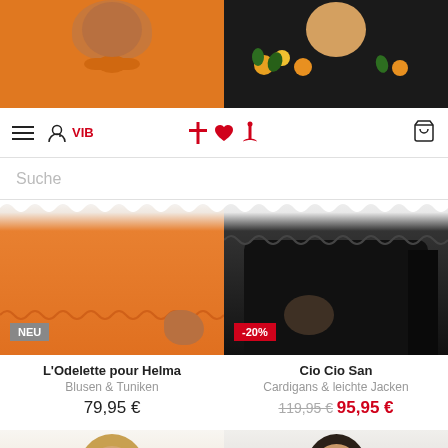[Figure (photo): Top portion of orange blouse with bow neckline on left, black floral embroidered top on right — both cropped at chest/shoulder level]
[Figure (screenshot): Navigation bar with hamburger menu, person icon, VIB text in red, cross-heart-anchor icons in red center, and cart icon on right]
Suche
[Figure (photo): Orange blouse with ruffled/scalloped sleeve hem, NEU badge bottom left]
[Figure (photo): Black cardigan with ruffled/scalloped details, -20% sale badge bottom left]
L'Odelette pour Helma
Blusen & Tuniken
79,95 €
Cio Cio San
Cardigans & leichte Jacken
119,95 € 95,95 €
[Figure (photo): Blonde woman facing slightly right — bottom product card image, left column]
[Figure (photo): Dark-haired woman facing slightly left — bottom product card image, right column]